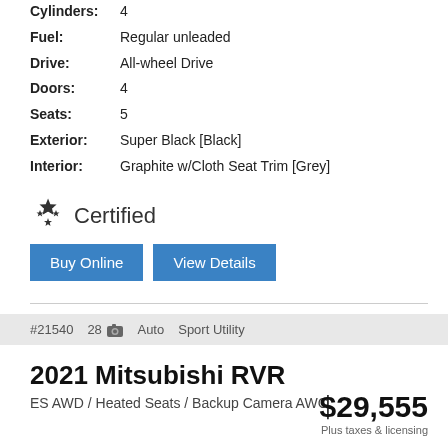Cylinders: 4
Fuel: Regular unleaded
Drive: All-wheel Drive
Doors: 4
Seats: 5
Exterior: Super Black [Black]
Interior: Graphite w/Cloth Seat Trim [Grey]
Certified
Buy Online   View Details
#21540   28   Auto   Sport Utility
2021 Mitsubishi RVR
ES AWD / Heated Seats / Backup Camera AWC
$29,555
Plus taxes & licensing